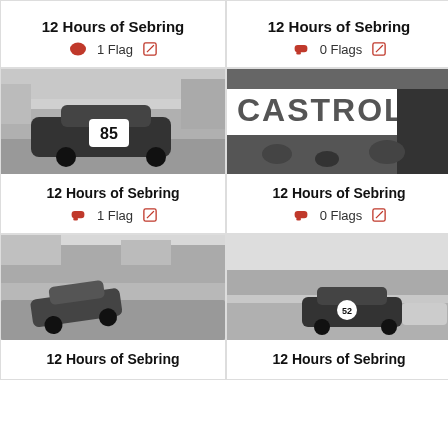12 Hours of Sebring
1 Flag
12 Hours of Sebring
0 Flags
[Figure (photo): Black and white photo of race car #85 on track at 12 Hours of Sebring]
12 Hours of Sebring
1 Flag
[Figure (photo): Black and white photo of CASTROL signage at 12 Hours of Sebring pit area]
12 Hours of Sebring
0 Flags
[Figure (photo): Black and white photo of race cars cornering at 12 Hours of Sebring]
12 Hours of Sebring
[Figure (photo): Black and white photo of race car #52 on track at 12 Hours of Sebring]
12 Hours of Sebring